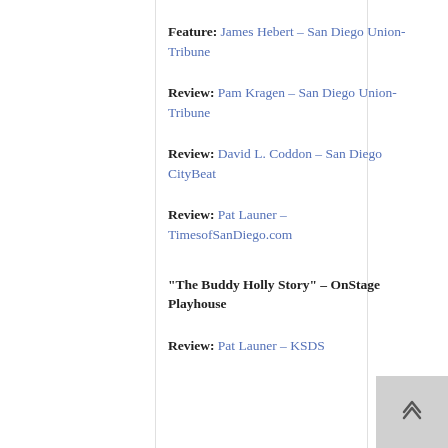Feature: James Hebert – San Diego Union-Tribune
Review: Pam Kragen – San Diego Union-Tribune
Review: David L. Coddon – San Diego CityBeat
Review: Pat Launer – TimesofSanDiego.com
“The Buddy Holly Story” – OnStage Playhouse
Review: Pat Launer – KSDS